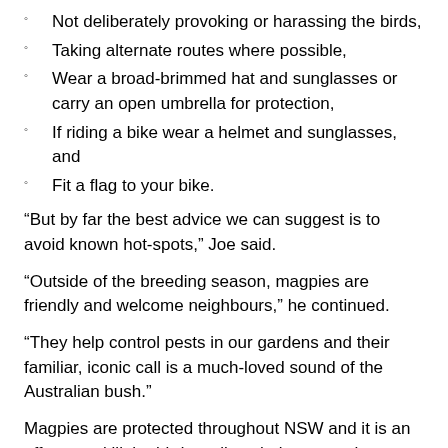Not deliberately provoking or harassing the birds,
Taking alternate routes where possible,
Wear a broad-brimmed hat and sunglasses or carry an open umbrella for protection,
If riding a bike wear a helmet and sunglasses, and
Fit a flag to your bike.
“But by far the best advice we can suggest is to avoid known hot-spots,” Joe said.
“Outside of the breeding season, magpies are friendly and welcome neighbours,” he continued.
“They help control pests in our gardens and their familiar, iconic call is a much-loved sound of the Australian bush.”
Magpies are protected throughout NSW and it is an offence to kill the birds, collect their eggs or harm their young.